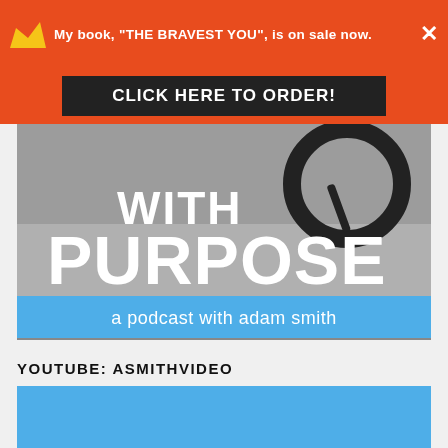My book, "THE BRAVEST YOU", is on sale now.
CLICK HERE TO ORDER!
[Figure (illustration): Podcast cover art showing 'WITH PURPOSE' text in white letters on a dark/grey background with a clock image and a blue banner reading 'a podcast with adam smith']
YOUTUBE: ASMITHVIDEO
[Figure (screenshot): YouTube video embed placeholder shown as a solid blue rectangle]